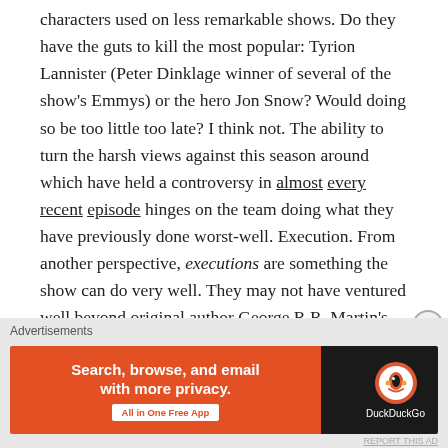characters used on less remarkable shows. Do they have the guts to kill the most popular: Tyrion Lannister (Peter Dinklage winner of several of the show's Emmys) or the hero Jon Snow? Would doing so be too little too late? I think not. The ability to turn the harsh views against this season around which have held a controversy in almost every recent episode hinges on the team doing what they have previously done worst-well. Execution. From another perspective, executions are something the show can do very well. They may not have ventured well beyond original author George R.R. Martin's works, but on the bright side they do not need to venture further. They just need to stop at the right
Advertisements
[Figure (other): DuckDuckGo advertisement banner. Left orange section reads 'Search, browse, and email with more privacy.' with 'All in One Free App' button. Right dark section shows DuckDuckGo logo and name.]